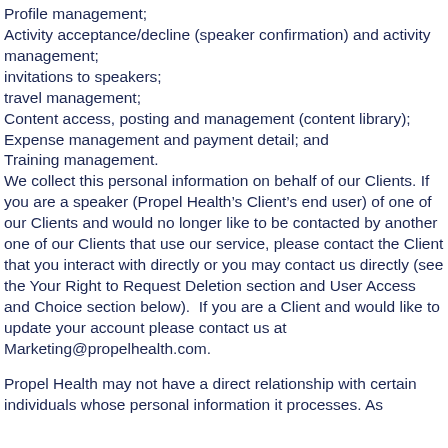Profile management;
Activity acceptance/decline (speaker confirmation) and activity management;
invitations to speakers;
travel management;
Content access, posting and management (content library);
Expense management and payment detail; and
Training management.
We collect this personal information on behalf of our Clients. If you are a speaker (Propel Health’s Client’s end user) of one of our Clients and would no longer like to be contacted by another one of our Clients that use our service, please contact the Client that you interact with directly or you may contact us directly (see the Your Right to Request Deletion section and User Access and Choice section below). If you are a Client and would like to update your account please contact us at Marketing@propelhealth.com.
Propel Health may not have a direct relationship with certain individuals whose personal information it processes. As